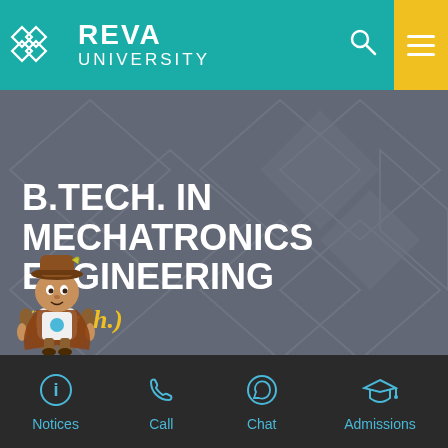[Figure (logo): REVA University logo with teal header bar, white diamond/grid icon, white REVA UNIVERSITY text, search icon, and yellow hamburger menu button]
B.TECH. IN MECHATRONICS ENGINEERING
(B.Tech.)
[Figure (illustration): Cartoon mascot character - small person in brown outfit with hat]
Notices | Call | Chat | Admissions